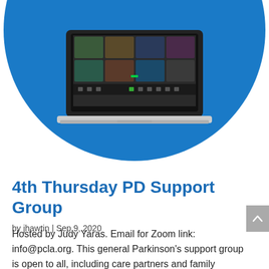[Figure (illustration): Blue circle background with a laptop showing a Zoom video call with multiple participants in a grid layout. The bottom of the circle is visible, circle is partially cropped at top.]
4th Thursday PD Support Group
by jhawtin | Sep 9, 2020
Hosted by Judy Yaras. Email for Zoom link: info@pcla.org. This general Parkinson's support group is open to all, including care partners and family members. Join us to share, connect, listen, and conversations and...